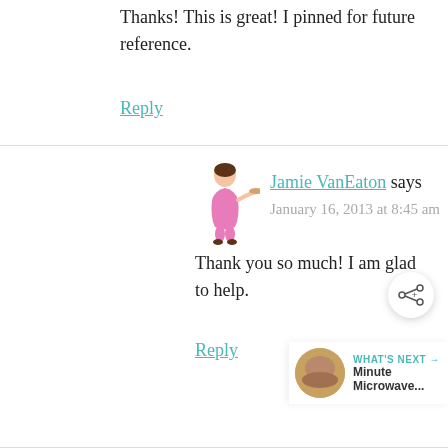Thanks! This is great! I pinned for future reference.
Reply
Jamie VanEaton says
January 16, 2013 at 8:45 am
Thank you so much! I am glad to help.
Reply
[Figure (other): Share button icon (circular button with share/plus symbol)]
[Figure (other): What's Next widget with thumbnail image and text 'Minute Microwave...']